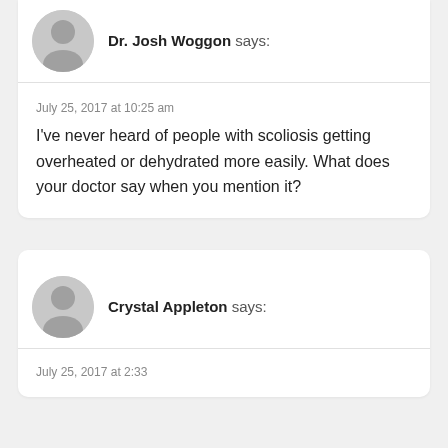Dr. Josh Woggon says:
July 25, 2017 at 10:25 am
I've never heard of people with scoliosis getting overheated or dehydrated more easily. What does your doctor say when you mention it?
Crystal Appleton says: